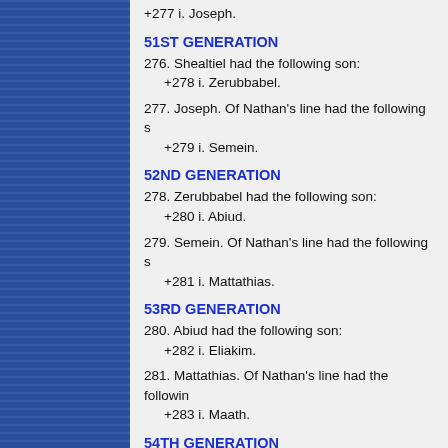+277 i. Joseph.
51ST GENERATION
276. Shealtiel had the following son:
    +278 i. Zerubbabel.
277. Joseph. Of Nathan's line had the following s...
    +279 i. Semein.
52ND GENERATION
278. Zerubbabel had the following son:
    +280 i. Abiud.
279. Semein. Of Nathan's line had the following s...
    +281 i. Mattathias.
53RD GENERATION
280. Abiud had the following son:
    +282 i. Eliakim.
281. Mattathias. Of Nathan's line had the followin...
    +283 i. Maath.
54TH GENERATION
282. Eliakim had the following son:
    +284 i. Azor.
283. Maath. Of Nathan's line had the following so...
    +285 i. Naggai.
55TH GENERATION